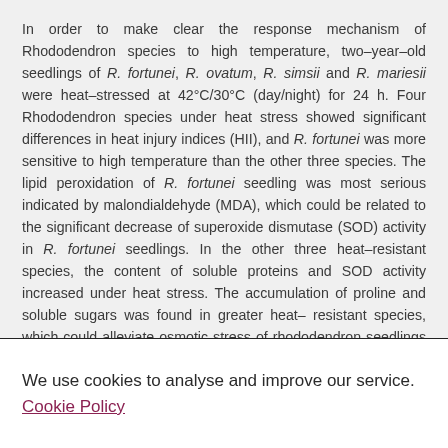In order to make clear the response mechanism of Rhododendron species to high temperature, two–year–old seedlings of R. fortunei, R. ovatum, R. simsii and R. mariesii were heat–stressed at 42°C/30°C (day/night) for 24 h. Four Rhododendron species under heat stress showed significant differences in heat injury indices (HII), and R. fortunei was more sensitive to high temperature than the other three species. The lipid peroxidation of R. fortunei seedling was most serious indicated by malondialdehyde (MDA), which could be related to the significant decrease of superoxide dismutase (SOD) activity in R. fortunei seedlings. In the other three heat–resistant species, the content of soluble proteins and SOD activity increased under heat stress. The accumulation of proline and soluble sugars was found in greater heat– resistant species, which could alleviate osmotic stress of rhododendron seedlings under high temperature. Net photosynthesis (PN) rates for four species were inhibited at different levels due to heat stress, but reduction proportion of PN for R. fortunei was highest due
We use cookies to analyse and improve our service. Cookie Policy